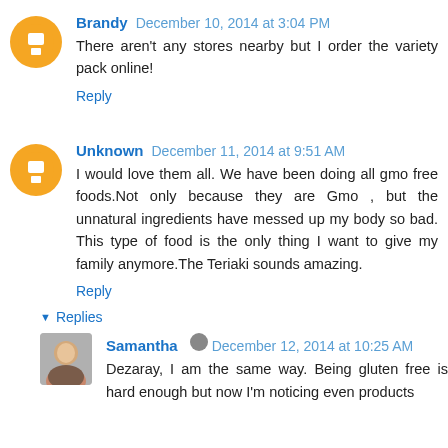Brandy  December 10, 2014 at 3:04 PM
There aren't any stores nearby but I order the variety pack online!
Reply
Unknown  December 11, 2014 at 9:51 AM
I would love them all. We have been doing all gmo free foods.Not only because they are Gmo , but the unnatural ingredients have messed up my body so bad. This type of food is the only thing I want to give my family anymore.The Teriaki sounds amazing.
Reply
Replies
Samantha  December 12, 2014 at 10:25 AM
Dezaray, I am the same way. Being gluten free is hard enough but now I'm noticing even products